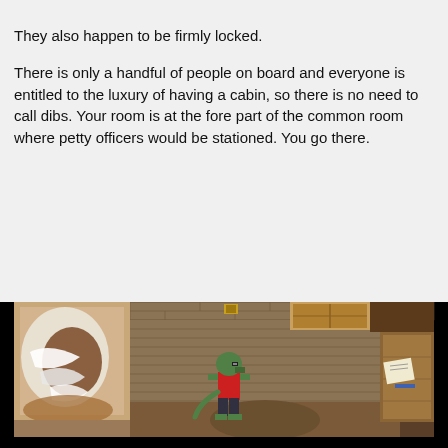They also happen to be firmly locked.
There is only a handful of people on board and everyone is entitled to the luxury of having a cabin, so there is no need to call dibs. Your room is at the fore part of the common room where petty officers would be stationed. You go there.
[Figure (screenshot): RPG-style game screenshot showing a stone-walled room interior. A green lizard-like character in red clothing stands in the center. To the left is a bed area with white bedding and a brown circular rug. To the right is a wooden door with a paper note on it. Above the character is a window with wooden shutters. The scene uses pixel art style graphics.]